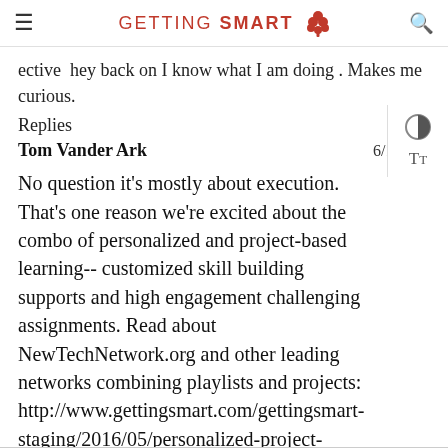GETTING SMART
ective  hey back on I know what I am doing . Makes me curious.
Replies
Tom Vander Ark   6/1/2016
No question it's mostly about execution. That's one reason we're excited about the combo of personalized and project-based learning-- customized skill building supports and high engagement challenging assignments. Read about NewTechNetwork.org and other leading networks combining playlists and projects: http://www.gettingsmart.com/gettingsmart-staging/2016/05/personalized-project-based-learning/